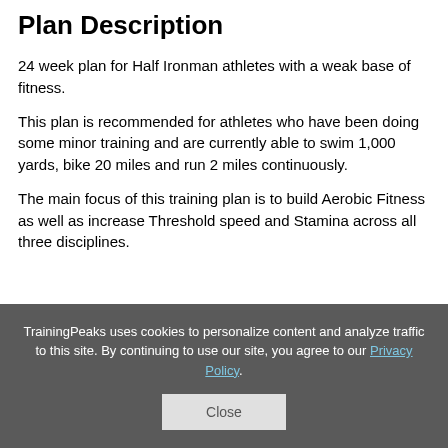Plan Description
24 week plan for Half Ironman athletes with a weak base of fitness.
This plan is recommended for athletes who have been doing some minor training and are currently able to swim 1,000 yards, bike 20 miles and run 2 miles continuously.
The main focus of this training plan is to build Aerobic Fitness as well as increase Threshold speed and Stamina across all three disciplines.
TrainingPeaks uses cookies to personalize content and analyze traffic to this site. By continuing to use our site, you agree to our Privacy Policy.
Close